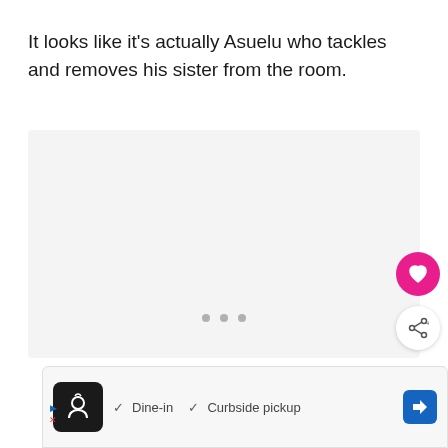It looks like it's actually Asuelu who tackles and removes his sister from the room.
[Figure (photo): Large image area (photo placeholder) showing content, with three gray dots at the bottom indicating a carousel/slideshow. A pink heart button and a share button are overlaid on the right side.]
[Figure (other): Advertisement bar at the bottom: restaurant icon with black background, checkmarks for 'Dine-in' and 'Curbside pickup', blue diamond navigation icon.]